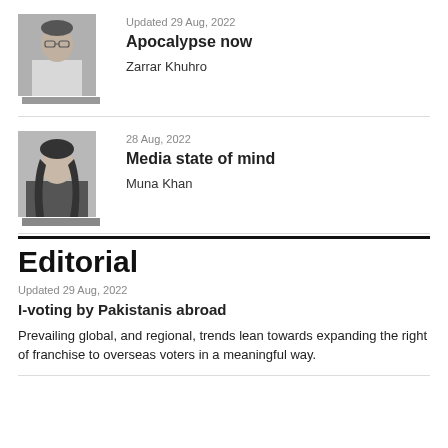[Figure (photo): Black and white photo of a man (Zarrar Khuhro)]
Updated 29 Aug, 2022
Apocalypse now
Zarrar Khuhro
[Figure (photo): Black and white photo of a woman (Muna Khan)]
28 Aug, 2022
Media state of mind
Muna Khan
Editorial
Updated 29 Aug, 2022
I-voting by Pakistanis abroad
Prevailing global, and regional, trends lean towards expanding the right of franchise to overseas voters in a meaningful way.